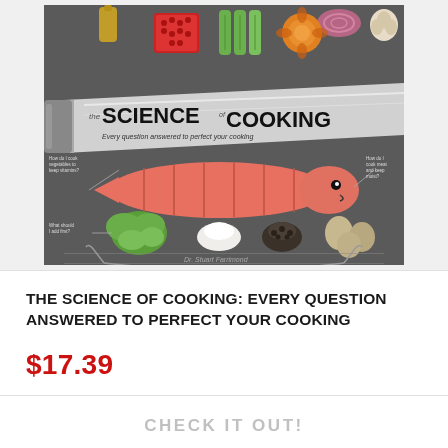[Figure (illustration): Book cover of 'The Science of Cooking: Every question answered to perfect your cooking' by Dr. Stuart Farrimond. Dark gray background with food ingredients (vegetables, fish, herbs, spices) and a large knife blade across the center bearing the title text.]
THE SCIENCE OF COOKING: EVERY QUESTION ANSWERED TO PERFECT YOUR COOKING
$17.39
CHECK IT OUT!